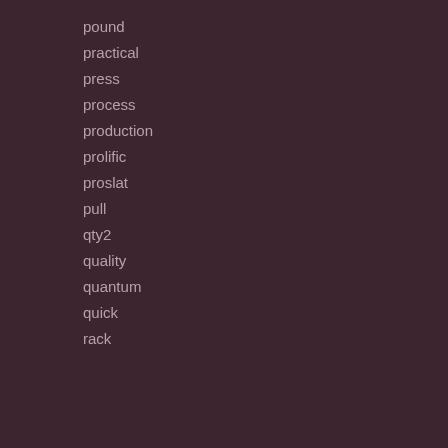pound
practical
press
process
production
prolific
proslat
pull
qty2
quality
quantum
quick
rack